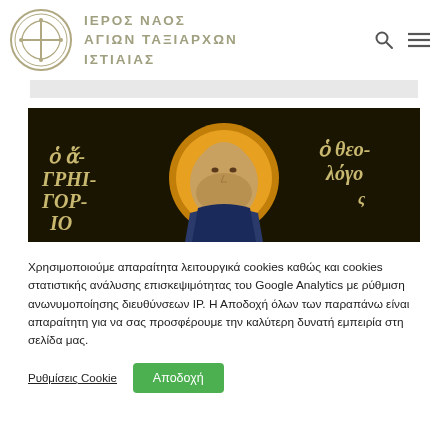ΙΕΡΟΣ ΝΑΟΣ ΑΓΙΩΝ ΤΑΞΙΑΡΧΩΝ ΙΣΤΙΑΙΑΣ
[Figure (illustration): Byzantine icon depicting a saint (likely Gregory the Theologian) with golden halo on dark background. Greek text reads 'Ο ΓΡΗΓΟΡΙΟ' on left and 'Ο ΘΕΟΛΟΓΟ' on right.]
Χρησιμοποιούμε απαραίτητα λειτουργικά cookies καθώς και cookies στατιστικής ανάλυσης επισκεψιμότητας του Google Analytics με ρύθμιση ανωνυμοποίησης διευθύνσεων IP. Η Αποδοχή όλων των παραπάνω είναι απαραίτητη για να σας προσφέρουμε την καλύτερη δυνατή εμπειρία στη σελίδα μας.
Ρυθμίσεις Cookie  Αποδοχή